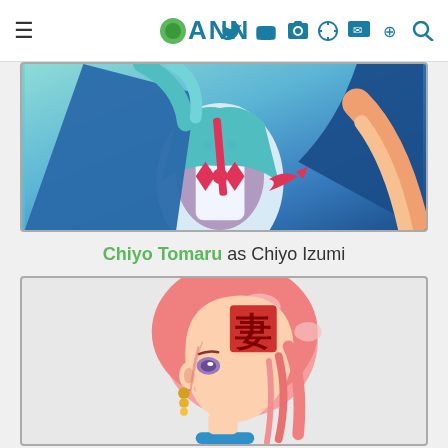ANN (Anime News Network) navigation bar
[Figure (illustration): Anime character with teal/blue outfit and hair, featuring a cape and decorative fish emblem, shown from torso up]
Chiyo Tomaru as Chiyo Izumi
[Figure (illustration): Anime character with pink hair and a kanji hair clip, facing left in profile view, wearing a blue bracelet and earrings]